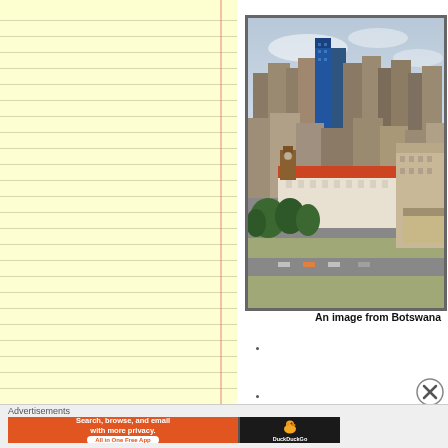[Figure (photo): Aerial photograph of an urban city skyline with tall modern office buildings and some lower colonial-style buildings with red/orange roofs, trees in foreground, under a partly cloudy sky. Described as an image from Botswana.]
An image from Botswana
.
.
Advertisements
[Figure (screenshot): DuckDuckGo advertisement banner: orange section reading 'Search, browse, and email with more privacy. All in One Free App' and dark section with DuckDuckGo logo and duck icon.]